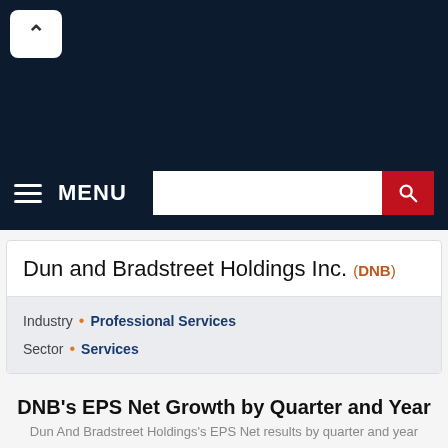[Figure (screenshot): Dark navy top navigation bar with a white chevron/back button in the upper left, a hamburger menu icon labeled MENU in white, and a search bar with a red search button on the right.]
Dun and Bradstreet Holdings Inc. (DNB)
Industry • Professional Services
Sector • Services
DNB's EPS Net Growth by Quarter and Year
Dun And Bradstreet Holdings's EPS Net results by quarter and year